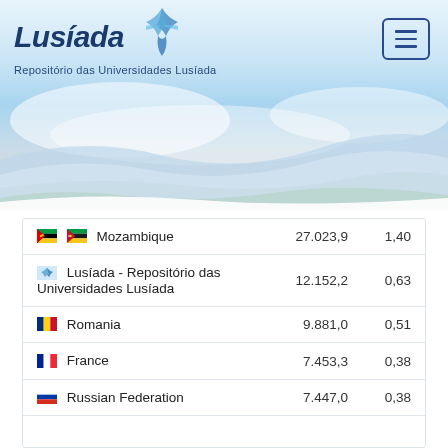[Figure (screenshot): Lusíada university repository website header with logo, subtitle 'Repositório das Universidades Lusíada', menu button, and blue sky wave background image]
|  |  |  |
| --- | --- | --- |
| 🇲🇿 Mozambique | 27.023,9 | 1,40 |
| 🔗 Lusíada - Repositório das Universidades Lusíada | 12.152,2 | 0,63 |
| 🇷🇴 Romania | 9.881,0 | 0,51 |
| 🇫🇷 France | 7.453,3 | 0,38 |
| 🇷🇺 Russian Federation | 7.447,0 | 0,38 |